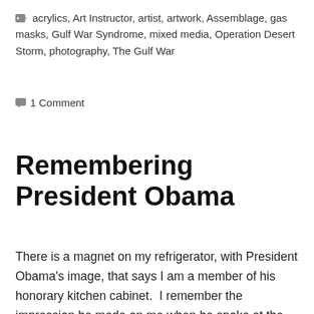acrylics, Art Instructor, artist, artwork, Assemblage, gas masks, Gulf War Syndrome, mixed media, Operation Desert Storm, photography, The Gulf War
1 Comment
Remembering President Obama
There is a magnet on my refrigerator, with President Obama's image, that says I am a member of his honorary kitchen cabinet.  I remember the impression he made on me when he spoke at the Democratic National Convention in 2004.  I told my son then that this man was going to be our next president.